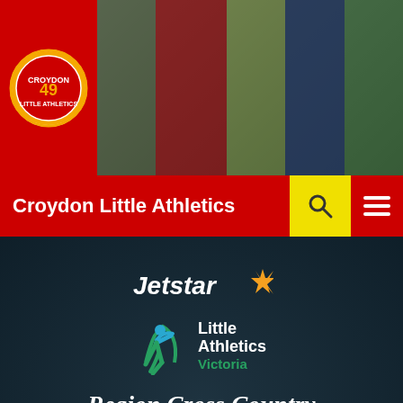[Figure (photo): Croydon Little Athletics website header with photo collage of athletes running and jumping, with club logo on red background]
Croydon Little Athletics
[Figure (logo): Jetstar and Little Athletics Victoria logo banner with Region Cross Country Championships event details, 25/06/2016 - 26/06/2016, on dark teal background]
CROSS COUNTRY
EMR CROSS COUNTRY